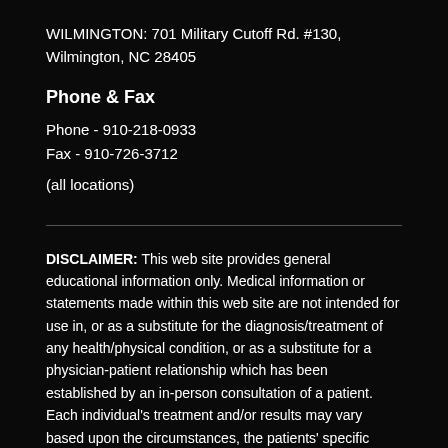WILMINGTON: 701 Military Cutoff Rd. #130, Wilmington, NC 28405
Phone & Fax
Phone - 910-218-0933
Fax - 910-726-3712
(all locations)
DISCLAIMER: This web site provides general educational information only. Medical information or statements made within this web site are not intended for use in, or as a substitute for the diagnosis/treatment of any health/physical condition, or as a substitute for a physician-patient relationship which has been established by an in-person consultation of a patient. Each individual's treatment and/or results may vary based upon the circumstances, the patients' specific situation, as well as the health care provider's medical judgment and only after further discussion of th patient's specific situation, goals, risks and benefits and other medical discussion. 'The 'Free Vein Health Screening' offer is not valid for Medicaid